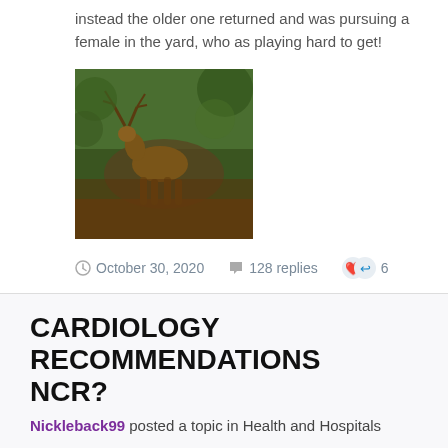instead the older one returned and was pursuing a female in the yard, who as playing hard to get!
[Figure (photo): Photo of a deer (moose/elk) in a wooded area with brown and green foliage]
October 30, 2020   128 replies   6
CARDIOLOGY RECOMMENDATIONS NCR?
Nickleback99 posted a topic in Health and Hospitals
All, We are scrambling to ID a Good cardiologist or cardi group in NCR region for my MIL. She spent a week at private hospital in Caloocan after BP hit 190 on high end number, passing out and vomiting, but no heart attack amazingly. Took some time, but they got her BP down and her anxiety down which make it worse of course. Been on statins for while now, but clearly heart disease/blockage and we are setting up angiogram at same